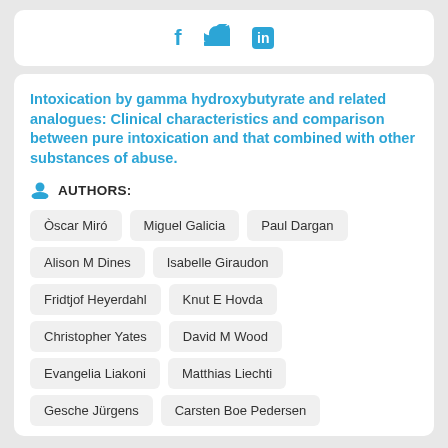[Figure (other): Social media share icons: Facebook (f), Twitter (bird), LinkedIn (in) in blue]
Intoxication by gamma hydroxybutyrate and related analogues: Clinical characteristics and comparison between pure intoxication and that combined with other substances of abuse.
AUTHORS:
Òscar Miró
Miguel Galicia
Paul Dargan
Alison M Dines
Isabelle Giraudon
Fridtjof Heyerdahl
Knut E Hovda
Christopher Yates
David M Wood
Evangelia Liakoni
Matthias Liechti
Gesche Jürgens
Carsten Boe Pedersen